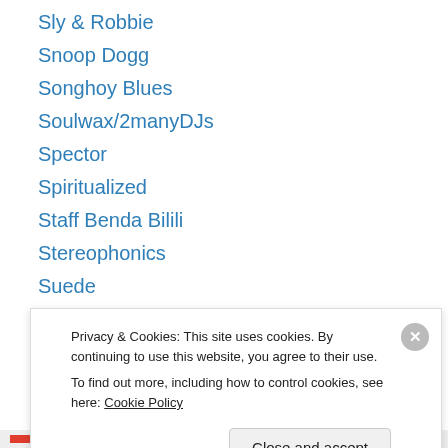Sly & Robbie
Snoop Dogg
Songhoy Blues
Soulwax/2manyDJs
Spector
Spiritualized
Staff Benda Bilili
Stereophonics
Suede
System of a Down's Serj Tankian
Tame Impala
Tanya Tagaq
Tears for Fears
Privacy & Cookies: This site uses cookies. By continuing to use this website, you agree to their use. To find out more, including how to control cookies, see here: Cookie Policy